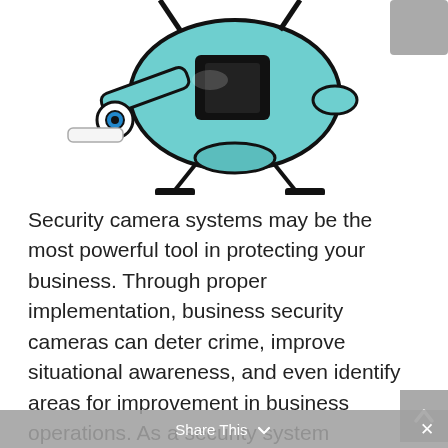[Figure (illustration): Illustration of a drone/security camera device in teal/cyan color with mechanical arms and camera lens, viewed from an angle. Partially cropped at top.]
Security camera systems may be the most powerful tool in protecting your business. Through proper implementation, business security cameras can deter crime, improve situational awareness, and even identify areas for improvement in business operations. As a security system integration firm with 17 years of experience we believe in the importance of educating people on how to best secure their facilities. For a more hands-on approach, Umbrella Technologies can be there with you every step of the way developing security